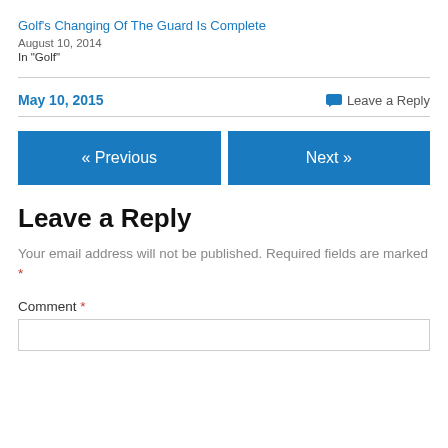Golf's Changing Of The Guard Is Complete
August 10, 2014
In "Golf"
May 10, 2015
Leave a Reply
« Previous
Next »
Leave a Reply
Your email address will not be published. Required fields are marked *
Comment *